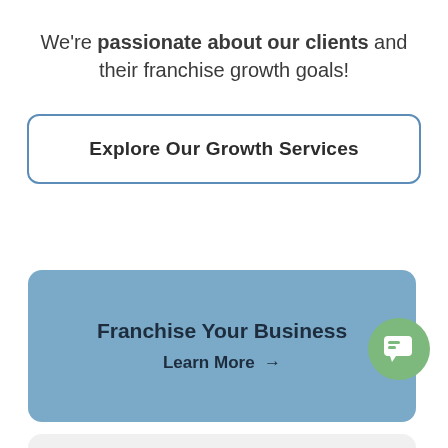We're passionate about our clients and their franchise growth goals!
Explore Our Growth Services
Franchise Your Business
Learn More →
Franchise Counsel Services